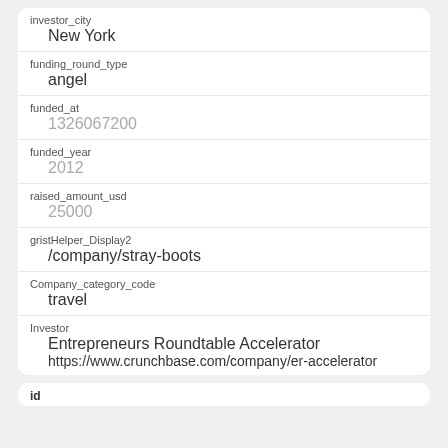investor_city
New York
funding_round_type
angel
funded_at
1326067200
funded_year
2012
raised_amount_usd
25000
gristHelper_Display2
/company/stray-boots
Company_category_code
travel
Investor
Entrepreneurs Roundtable Accelerator
https://www.crunchbase.com/company/er-accelerator
id